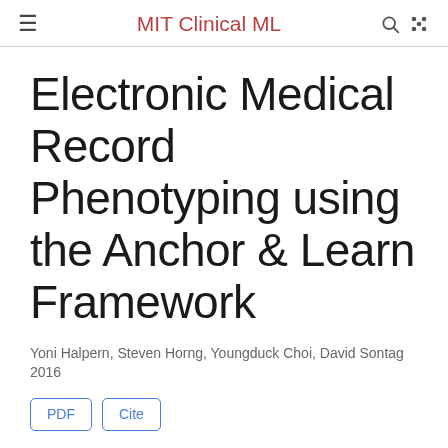MIT Clinical ML
Electronic Medical Record Phenotyping using the Anchor & Learn Framework
Yoni Halpern, Steven Horng, Youngduck Choi, David Sontag
2016
PDF   Cite
Abstract
Electronic medical records (EMRs) hold a tremendous